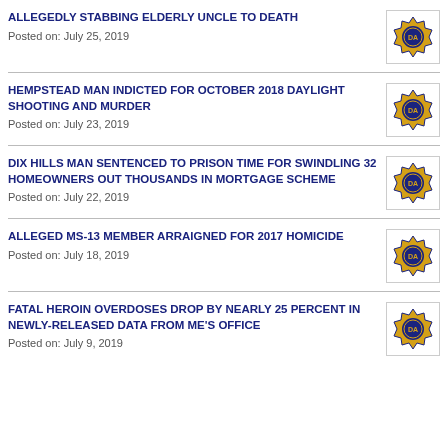ALLEGEDLY STABBING ELDERLY UNCLE TO DEATH
Posted on: July 25, 2019
HEMPSTEAD MAN INDICTED FOR OCTOBER 2018 DAYLIGHT SHOOTING AND MURDER
Posted on: July 23, 2019
DIX HILLS MAN SENTENCED TO PRISON TIME FOR SWINDLING 32 HOMEOWNERS OUT THOUSANDS IN MORTGAGE SCHEME
Posted on: July 22, 2019
ALLEGED MS-13 MEMBER ARRAIGNED FOR 2017 HOMICIDE
Posted on: July 18, 2019
FATAL HEROIN OVERDOSES DROP BY NEARLY 25 PERCENT IN NEWLY-RELEASED DATA FROM ME'S OFFICE
Posted on: July 9, 2019